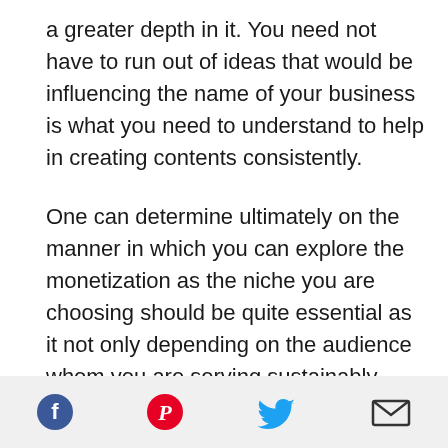a greater depth in it. You need not have to run out of ideas that would be influencing the name of your business is what you need to understand to help in creating contents consistently.
One can determine ultimately on the manner in which you can explore the monetization as the niche you are choosing should be quite essential as it not only depending on the audience whom you are serving sustainably.
The buying-decision for the audience should also be taken in concern as it is a vital question that
[Figure (other): Social sharing icons row: Facebook (blue circle with f), Pinterest (red circle with P), Twitter (blue bird icon), Email (envelope icon)]